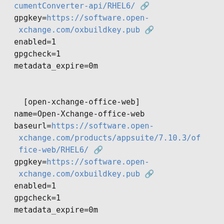cumentconverter-api/RHEL6/
gpgkey=https://software.open-xchange.com/oxbuildkey.pub
enabled=1
gpgcheck=1
metadata_expire=0m

[open-xchange-office-web]
name=Open-Xchange-office-web
baseurl=https://software.open-xchange.com/products/appsuite/7.10.3/office-web/RHEL6/
gpgkey=https://software.open-xchange.com/oxbuildkey.pub
enabled=1
gpgcheck=1
metadata_expire=0m

[open-xchange-pdftool]
name=Open-Xchange-pdftool
baseurl=https://software.open-